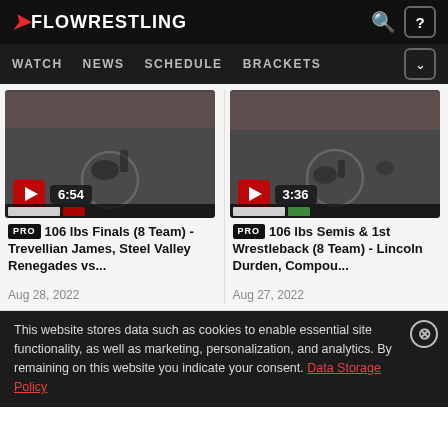FLOWRESTLING
WATCH NEWS SCHEDULE BRACKETS
[Figure (screenshot): Wrestling match video thumbnail, duration 6:54]
PRO 106 lbs Finals (8 Team) - Trevellian James, Steel Valley Renegades vs...
Aug 28, 2022
[Figure (screenshot): Wrestling match video thumbnail, duration 3:36]
PRO 106 lbs Semis & 1st Wrestleback (8 Team) - Lincoln Durden, Compou...
Aug 27, 2022
This website stores data such as cookies to enable essential site functionality, as well as marketing, personalization, and analytics. By remaining on this website you indicate your consent. Data Storage Policy